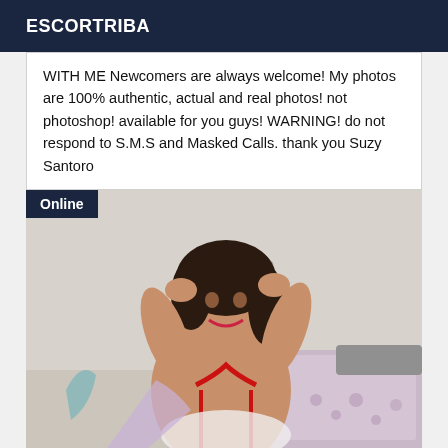ESCORTRIBA
WITH ME Newcomers are always welcome! My photos are 100% authentic, actual and real photos! not photoshop! available for you guys! WARNING! do not respond to S.M.S and Masked Calls. thank you Suzy Santoro
[Figure (photo): Woman posing in a bedroom setting, wearing red lingerie, with dark hair, hands raised behind head. An 'Online' badge is overlaid in the top-left corner of the image.]